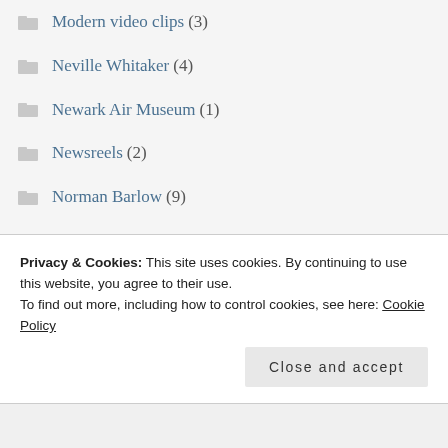Modern video clips (3)
Neville Whitaker (4)
Newark Air Museum (1)
Newsreels (2)
Norman Barlow (9)
Norman Burrows (2)
Obituaries (17)
Obsequious apology (3)
Oddities (21)
Operation Chastise (34)
Privacy & Cookies: This site uses cookies. By continuing to use this website, you agree to their use.
To find out more, including how to control cookies, see here: Cookie Policy
Close and accept